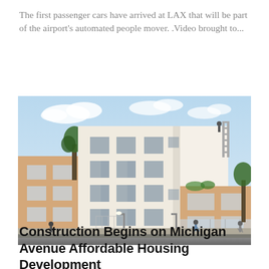The first passenger cars have arrived at LAX that will be part of the airport's automated people mover. .Video brought to...
[Figure (illustration): Architectural rendering of a multi-story affordable housing development. The building has white upper floors with a modern flat-roofed design, and tan/brick-colored lower sections on the left and right wings. Multiple windows are visible across all floors. Trees are visible on both sides, pedestrians walk in front on a sidewalk, and the sky is light blue with clouds.]
Construction Begins on Michigan Avenue Affordable Housing Development